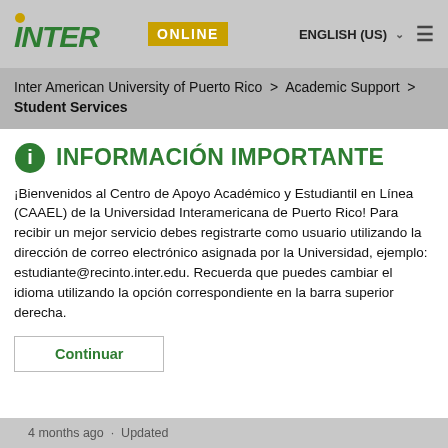INTER ONLINE   ENGLISH (US) ≡
Inter American University of Puerto Rico > Academic Support > Student Services
INFORMACIÓN IMPORTANTE
¡Bienvenidos al Centro de Apoyo Académico y Estudiantil en Línea (CAAEL) de la Universidad Interamericana de Puerto Rico! Para recibir un mejor servicio debes registrarte como usuario utilizando la dirección de correo electrónico asignada por la Universidad, ejemplo: estudiante@recinto.inter.edu. Recuerda que puedes cambiar el idioma utilizando la opción correspondiente en la barra superior derecha.
Continuar
4 months ago · Updated